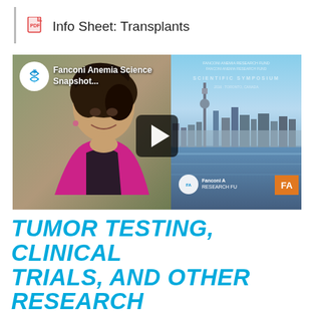Info Sheet: Transplants
[Figure (screenshot): Video thumbnail showing a woman speaking on the left side, with a Fanconi Anemia Research Fund Scientific Symposium poster showing Toronto skyline on the right. Video title reads 'Fanconi Anemia Science Snapshot...' with a play button overlay.]
TUMOR TESTING, CLINICAL TRIALS, AND OTHER RESEARCH